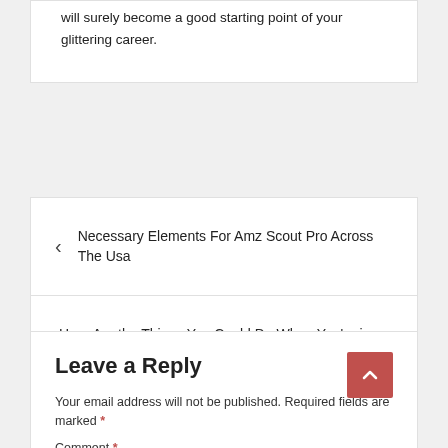will surely become a good starting point of your glittering career.
< Necessary Elements For Amz Scout Pro Across The Usa
Here Are the Things You Could Do When You're in Toowoon Bay >
Leave a Reply
Your email address will not be published. Required fields are marked *
Comment *